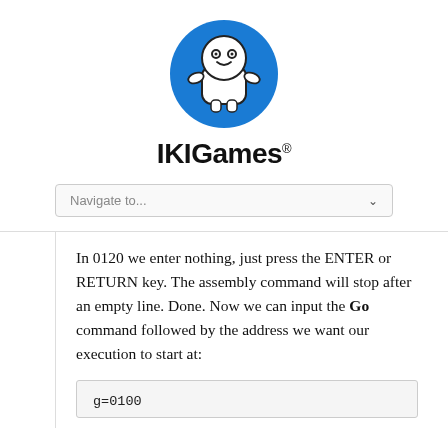[Figure (logo): IKIGames logo: a cartoon robot character with a round head, two circular eyes, small smile, arms outstretched, on a blue circular background]
IKIGames®
Navigate to...
In 0120 we enter nothing, just press the ENTER or RETURN key. The assembly command will stop after an empty line. Done. Now we can input the Go command followed by the address we want our execution to start at:
g=0100